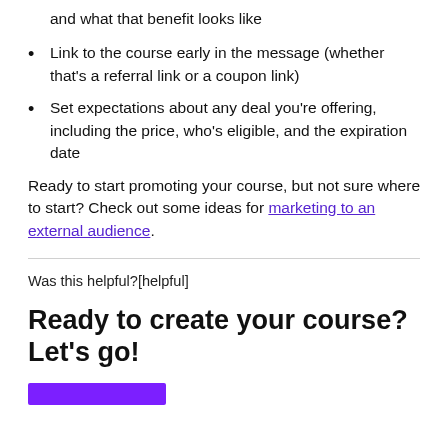and what that benefit looks like
Link to the course early in the message (whether that's a referral link or a coupon link)
Set expectations about any deal you're offering, including the price, who's eligible, and the expiration date
Ready to start promoting your course, but not sure where to start? Check out some ideas for marketing to an external audience.
Was this helpful?[helpful]
Ready to create your course? Let's go!